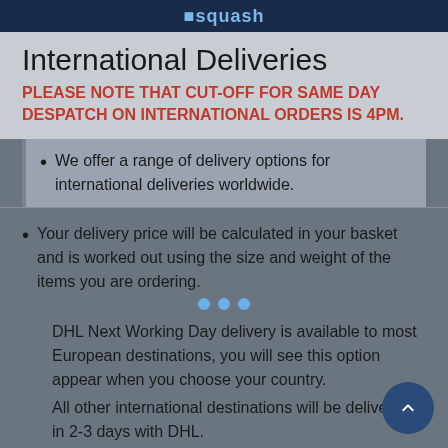squash
International Deliveries
PLEASE NOTE THAT CUT-OFF FOR SAME DAY DESPATCH ON INTERNATIONAL ORDERS IS 4PM.
We offer a range of delivery options for international deliveries worldwide.
Your delivery price will be calculated in your basket and is worked out using the size and weight of the items you are ordering.
DHL Next Working Day delivery is available to most European destinations, you will see this option appear when you choose your country.
All other international destinations will be delivered in 2-3 days with DHL.
If you can't find your country in our list of